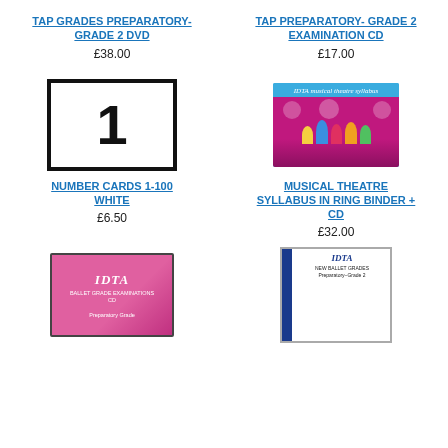TAP GRADES PREPARATORY- GRADE 2 DVD
£38.00
TAP PREPARATORY- GRADE 2 EXAMINATION CD
£17.00
[Figure (photo): Number card showing the number 1 in black on white background with thick black border]
[Figure (photo): IDTA Musical Theatre Syllabus book cover with blue background and cartoon figures on a pink stage]
NUMBER CARDS 1-100 WHITE
£6.50
MUSICAL THEATRE SYLLABUS IN RING BINDER + CD
£32.00
[Figure (photo): Pink CD case with IDTA logo, Ballet Grade Examinations CD]
[Figure (photo): White book with blue spine, IDTA New Ballet Grades Preparatory-Grade 2 book]